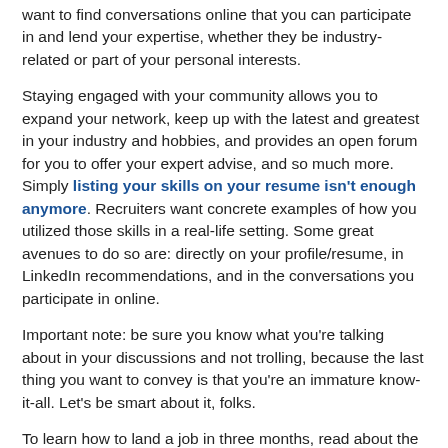want to find conversations online that you can participate in and lend your expertise, whether they be industry-related or part of your personal interests.
Staying engaged with your community allows you to expand your network, keep up with the latest and greatest in your industry and hobbies, and provides an open forum for you to offer your expert advise, and so much more. Simply listing your skills on your resume isn't enough anymore. Recruiters want concrete examples of how you utilized those skills in a real-life setting. Some great avenues to do so are: directly on your profile/resume, in LinkedIn recommendations, and in the conversations you participate in online.
Important note: be sure you know what you're talking about in your discussions and not trolling, because the last thing you want to convey is that you're an immature know-it-all. Let's be smart about it, folks.
To learn how to land a job in three months, read about the